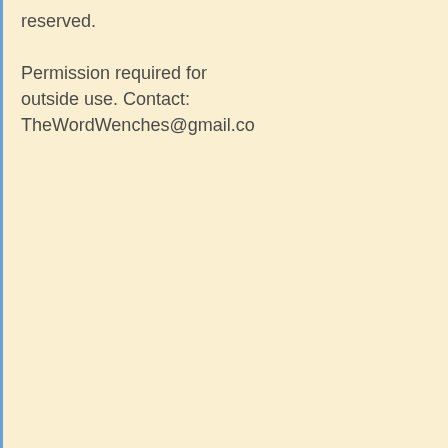reserved.

Permission required for outside use. Contact: TheWordWenches@gmail.co